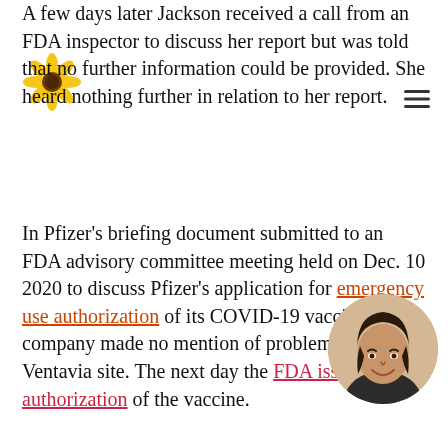A few days later Jackson received a call from an FDA inspector to discuss her report but was told that no further information could be provided. She heard nothing further in relation to her report.
In Pfizer's briefing document submitted to an FDA advisory committee meeting held on Dec. 10 2020 to discuss Pfizer's application for emergency use authorization of its COVID-19 vaccine, the company made no mention of problems at the Ventavia site. The next day the FDA issued the authorization of the vaccine.
In August this year, after the full approval of Pfizer's vaccine, the FDA published a summary of its inspections of the company's pivotal trial. Nine of the trial's 153 sites were inspected.
Ventavia's sites were not listed among the nine, inspections of sites where adults were recruited in the eight months after the December 2020 emergency authorization. The FDA's inspection officer noted:
[Figure (photo): Circular portrait photo of a woman with dark hair, smiling, positioned at the bottom right of the page]